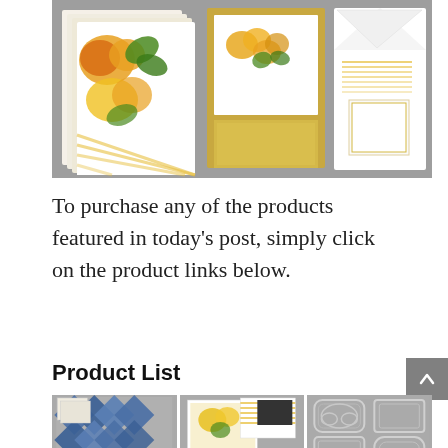[Figure (photo): Product photo showing stationery items on gray background: floral watercolor paper sheets with yellow and orange flowers on the left, a card with floral motif and gold frame in the center, and a white envelope with gold stripe lining on the right.]
To purchase any of the products featured in today’s post, simply click on the product links below.
Product List
[Figure (photo): Three product grid images on gray background: left shows blue chevron patterned paper with scissors and ribbon; center shows yellow floral stationery set with envelopes; right shows gray die-cut label frames.]